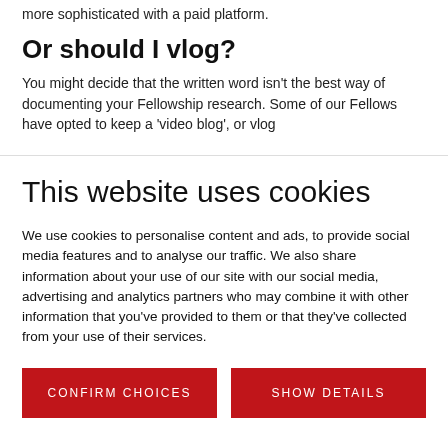more sophisticated with a paid platform.
Or should I vlog?
You might decide that the written word isn't the best way of documenting your Fellowship research. Some of our Fellows have opted to keep a 'video blog', or vlog
This website uses cookies
We use cookies to personalise content and ads, to provide social media features and to analyse our traffic. We also share information about your use of our site with our social media, advertising and analytics partners who may combine it with other information that you've provided to them or that they've collected from your use of their services.
CONFIRM CHOICES
SHOW DETAILS